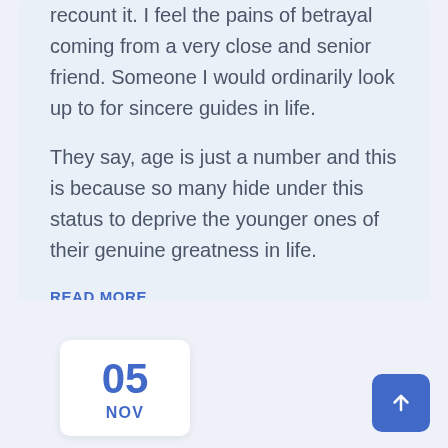recount it. I feel the pains of betrayal coming from a very close and senior friend. Someone I would ordinarily look up to for sincere guides in life. They say, age is just a number and this is because so many hide under this status to deprive the younger ones of their genuine greatness in life.
READ MORE
05 NOV